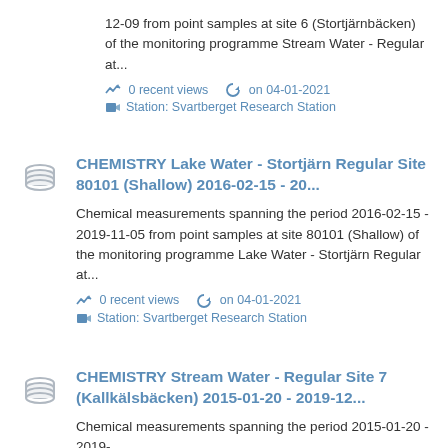12-09 from point samples at site 6 (Stortjärnbäcken) of the monitoring programme Stream Water - Regular at...
0 recent views   on 04-01-2021
Station: Svartberget Research Station
CHEMISTRY Lake Water - Stortjärn Regular Site 80101 (Shallow) 2016-02-15 - 20...
Chemical measurements spanning the period 2016-02-15 - 2019-11-05 from point samples at site 80101 (Shallow) of the monitoring programme Lake Water - Stortjärn Regular at...
0 recent views   on 04-01-2021
Station: Svartberget Research Station
CHEMISTRY Stream Water - Regular Site 7 (Kallkälsbäcken) 2015-01-20 - 2019-12...
Chemical measurements spanning the period 2015-01-20 - 2019-